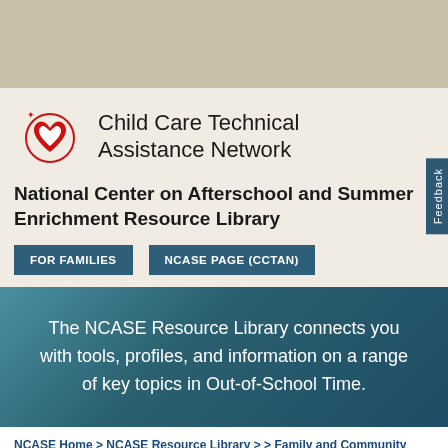[Figure (logo): Child Care Technical Assistance Network logo with red heart and orbit design, accompanied by organization name text]
National Center on Afterschool and Summer Enrichment Resource Library
FOR FAMILIES | NCASE PAGE (CCTAN)
The NCASE Resource Library connects you with tools, profiles, and information on a range of key topics in Out-of-School Time.
NCASE Home > NCASE Resource Library > > Family and Community Engagement > RETIRED -- Center on Enhancing Early Learning